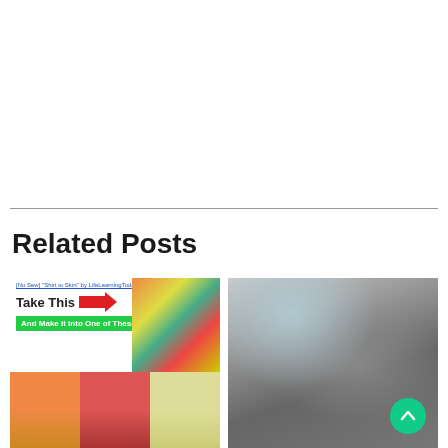Related Posts
[Figure (photo): Thumbnail image for a DIY 'No Sew Shirt to Skirt' craft post, showing colorful tie-dye clothing items with text overlay 'Take This' with a red arrow and green bar 'And Make it into One of These !!']
[Figure (photo): Close-up photo of a person wearing a chunky knit cowl/infinity scarf in grey and blue tones, with a teal scroll-to-top button overlay]